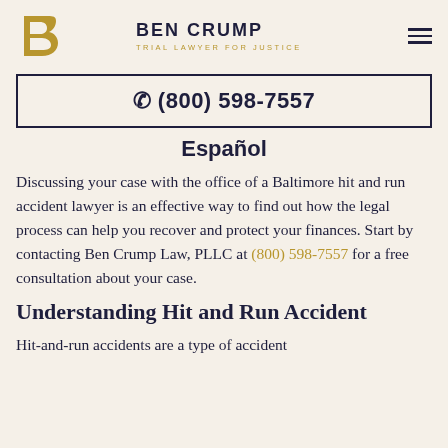BEN CRUMP TRIAL LAWYER FOR JUSTICE
☎ (800) 598-7557
Español
Discussing your case with the office of a Baltimore hit and run accident lawyer is an effective way to find out how the legal process can help you recover and protect your finances. Start by contacting Ben Crump Law, PLLC at (800) 598-7557 for a free consultation about your case.
Understanding Hit and Run Accident
Hit-and-run accidents are a type of accident